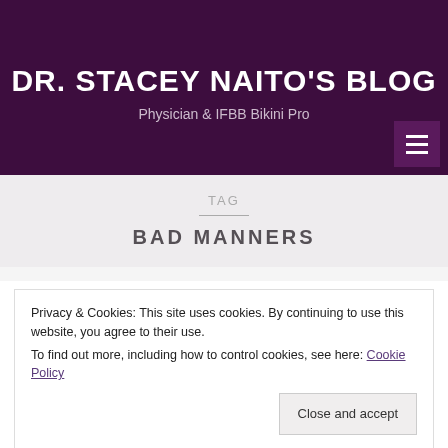DR. STACEY NAITO'S BLOG
Physician & IFBB Bikini Pro
TAG
BAD MANNERS
Privacy & Cookies: This site uses cookies. By continuing to use this website, you agree to their use.
To find out more, including how to control cookies, see here: Cookie Policy
Close and accept